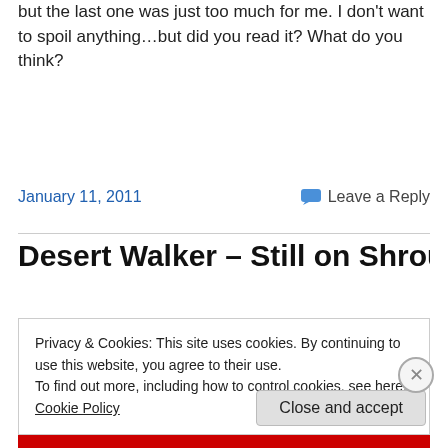but the last one was just too much for me. I don't want to spoil anything…but did you read it? What do you think?
January 11, 2011
Leave a Reply
Desert Walker – Still on Shroud
Privacy & Cookies: This site uses cookies. By continuing to use this website, you agree to their use.
To find out more, including how to control cookies, see here: Cookie Policy
Close and accept